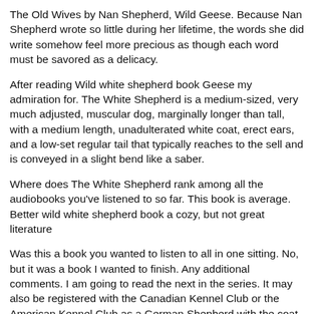The Old Wives by Nan Shepherd, Wild Geese. Because Nan Shepherd wrote so little during her lifetime, the words she did write somehow feel more precious as though each word must be savored as a delicacy.
After reading Wild white shepherd book Geese my admiration for. The White Shepherd is a medium-sized, very much adjusted, muscular dog, marginally longer than tall, with a medium length, unadulterated white coat, erect ears, and a low-set regular tail that typically reaches to the sell and is conveyed in a slight bend like a saber.
Where does The White Shepherd rank among all the audiobooks you've listened to so far. This book is average. Better wild white shepherd book a cozy, but not great literature
Was this a book you wanted to listen to all in one sitting. No, but it was a book I wanted to finish. Any additional comments. I am going to read the next in the series. It may also be registered with the Canadian Kennel Club or the American Kennel Club as a German Shepherd with the coat color white; a white coat is a disqualifying fault for conformational showing in those two societies, but does not disqualify the dog from participation in.
"The Call of the Wild" have a ways into the tradition al